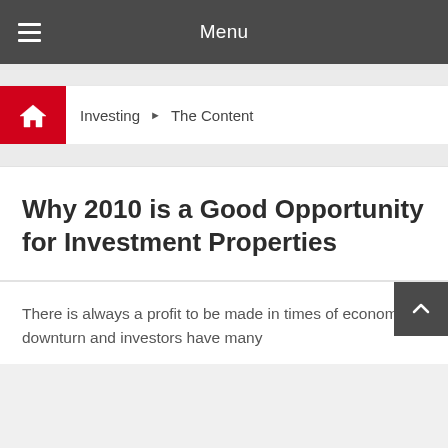Menu
Investing ▶ The Content
Why 2010 is a Good Opportunity for Investment Properties
There is always a profit to be made in times of economic downturn and investors have many